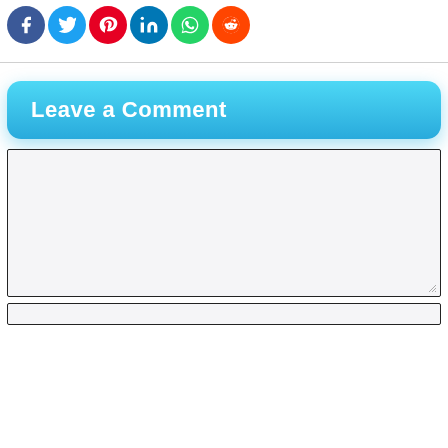[Figure (other): Social media share buttons: Facebook (dark blue circle), Twitter (light blue circle), Pinterest (red circle), LinkedIn (blue circle), WhatsApp (green circle), Reddit (orange circle)]
Leave a Comment
[Figure (other): Empty comment text area input box with resize handle]
[Figure (other): Empty name input field]